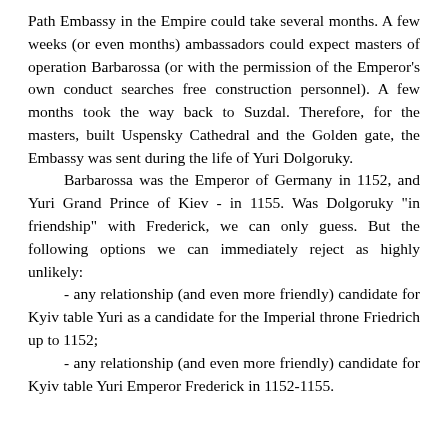Path Embassy in the Empire could take several months. A few weeks (or even months) ambassadors could expect masters of operation Barbarossa (or with the permission of the Emperor's own conduct searches free construction personnel). A few months took the way back to Suzdal. Therefore, for the masters, built Uspensky Cathedral and the Golden gate, the Embassy was sent during the life of Yuri Dolgoruky.
Barbarossa was the Emperor of Germany in 1152, and Yuri Grand Prince of Kiev - in 1155. Was Dolgoruky "in friendship" with Frederick, we can only guess. But the following options we can immediately reject as highly unlikely:
- any relationship (and even more friendly) candidate for Kyiv table Yuri as a candidate for the Imperial throne Friedrich up to 1152;
- any relationship (and even more friendly) candidate for Kyiv table Yuri Emperor Frederick in 1152-1155.